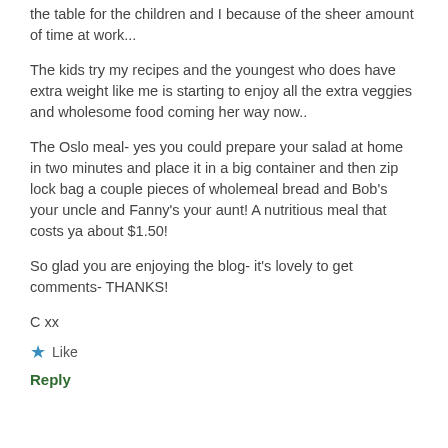the table for the children and I because of the sheer amount of time at work...
The kids try my recipes and the youngest who does have extra weight like me is starting to enjoy all the extra veggies and wholesome food coming her way now..
The Oslo meal- yes you could prepare your salad at home in two minutes and place it in a big container and then zip lock bag a couple pieces of wholemeal bread and Bob's your uncle and Fanny's your aunt! A nutritious meal that costs ya about $1.50!
So glad you are enjoying the blog- it's lovely to get comments- THANKS!
C xx
★ Like
Reply